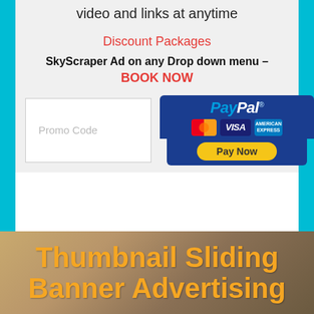video and links at anytime
Discount Packages
SkyScraper Ad on any Drop down menu – BOOK NOW
[Figure (other): Promo Code input box alongside PayPal payment widget with MasterCard, VISA, American Express card icons and Pay Now button]
Thumbnail Sliding Banner Advertising